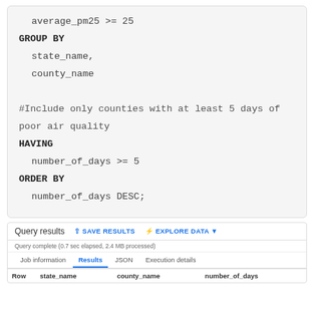average_pm25 >= 25
GROUP BY
  state_name,
  county_name

#Include only counties with at least 5 days of poor air quality
HAVING
  number_of_days >= 5
ORDER BY
  number_of_days DESC;
Query results | SAVE RESULTS | EXPLORE DATA
Query complete (0.7 sec elapsed, 2.4 MB processed)
Job information | Results | JSON | Execution details
| Row | state_name | county_name | number_of_days |
| --- | --- | --- | --- |